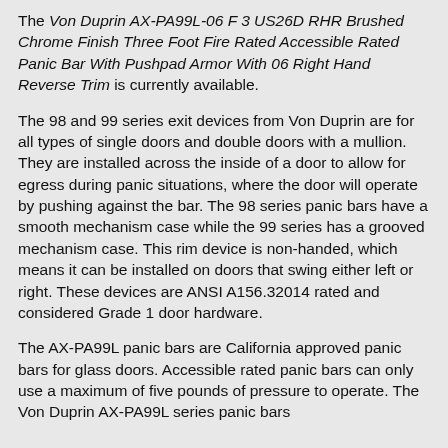The Von Duprin AX-PA99L-06 F 3 US26D RHR Brushed Chrome Finish Three Foot Fire Rated Accessible Rated Panic Bar With Pushpad Armor With 06 Right Hand Reverse Trim is currently available.
The 98 and 99 series exit devices from Von Duprin are for all types of single doors and double doors with a mullion. They are installed across the inside of a door to allow for egress during panic situations, where the door will operate by pushing against the bar. The 98 series panic bars have a smooth mechanism case while the 99 series has a grooved mechanism case. This rim device is non-handed, which means it can be installed on doors that swing either left or right. These devices are ANSI A156.32014 rated and considered Grade 1 door hardware.
The AX-PA99L panic bars are California approved panic bars for glass doors. Accessible rated panic bars can only use a maximum of five pounds of pressure to operate. The Von Duprin AX-PA99L series panic bars